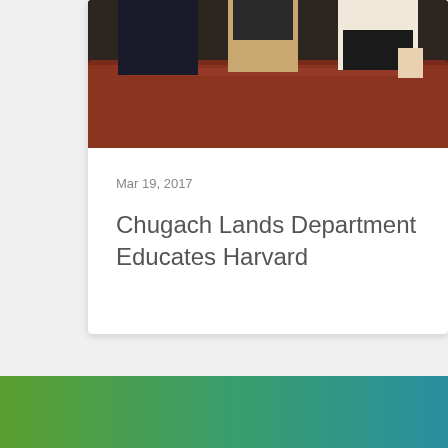[Figure (photo): Photo of people standing around a conference room table, partially cropped. Shows people's torsos and legs with a dark reddish-brown conference table in foreground.]
Mar 19, 2017
Chugach Lands Department Educates Harvard
[Figure (other): Left navigation arrow (←)]
[Figure (other): Right navigation arrow (→)]
[Figure (other): Green to teal gradient decorative bar at bottom of page]